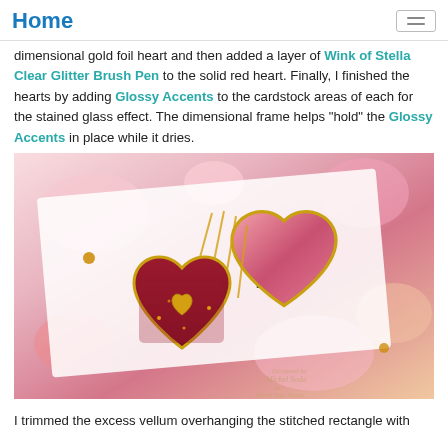Home
dimensional gold foil heart and then added a layer of Wink of Stella Clear Glitter Brush Pen to the solid red heart. Finally, I finished the hearts by adding Glossy Accents to the cardstock areas of each for the stained glass effect. The dimensional frame helps "hold" the Glossy Accents in place while it dries.
[Figure (photo): Close-up photo of handmade Valentine's Day card featuring two layered heart embellishments with gold foil borders and glitter accents on a floral background. Text 'all my heart' visible in script. Watermark 'Designed by Michel Soda for Simon Says Stamp' in lower right corner.]
I trimmed the excess vellum overhanging the stitched rectangle with